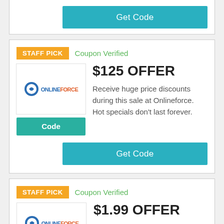[Figure (other): Partial coupon card top showing Get Code button]
STAFF PICK
Coupon Verified
$125 OFFER
Receive huge price discounts during this sale at Onlineforce. Hot specials don't last forever.
Code
Get Code
STAFF PICK
Coupon Verified
$1.99 OFFER
Take chance! The